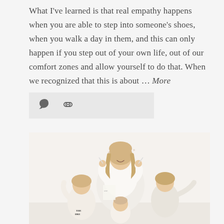What I've learned is that real empathy happens when you are able to step into someone's shoes, when you walk a day in them, and this can only happen if you step out of your own life, out of our comfort zones and allow yourself to do that. When we recognized that this is about … More
[Figure (other): Small icon bar with comment bubble icon and chain/link icon on a light grey background]
[Figure (photo): A smiling blonde woman in a white sweater playing with three young children (two boys and a baby) in a bright white room]